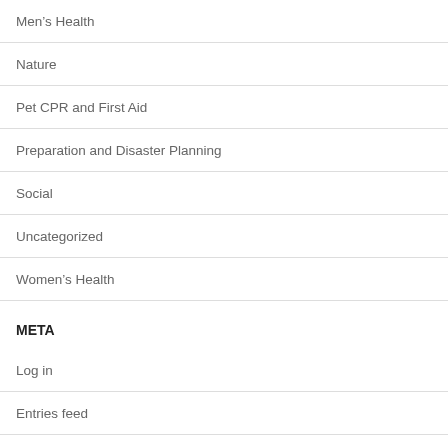Men's Health
Nature
Pet CPR and First Aid
Preparation and Disaster Planning
Social
Uncategorized
Women's Health
META
Log in
Entries feed